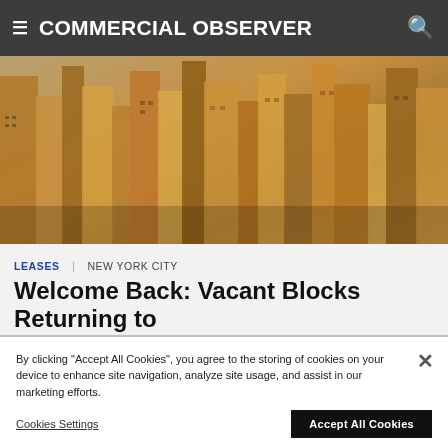COMMERCIAL OBSERVER
[Figure (photo): Aerial view of Midtown Manhattan skyscrapers and buildings from above, showing dense urban architecture with tan and brown tones]
LEASES | NEW YORK CITY
Welcome Back: Vacant Blocks Returning to the Midtown Avenues
You have 2 free articles remaining. Become a Basic Member for unlimited access to recent articles with a free account.
By clicking "Accept All Cookies", you agree to the storing of cookies on your device to enhance site navigation, analyze site usage, and assist in our marketing efforts.
Cookies Settings    Accept All Cookies